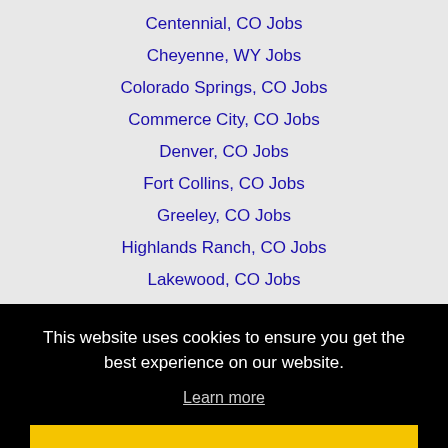Centennial, CO Jobs
Cheyenne, WY Jobs
Colorado Springs, CO Jobs
Commerce City, CO Jobs
Denver, CO Jobs
Fort Collins, CO Jobs
Greeley, CO Jobs
Highlands Ranch, CO Jobs
Lakewood, CO Jobs
This website uses cookies to ensure you get the best experience on our website.
Learn more
Got it!